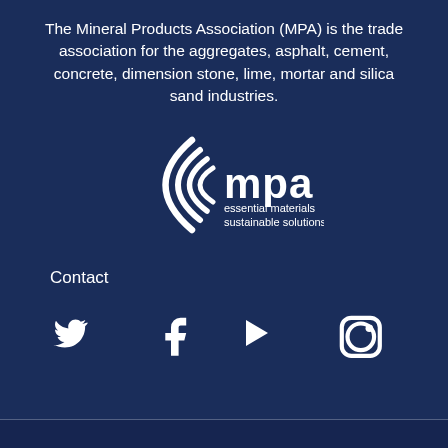The Mineral Products Association (MPA) is the trade association for the aggregates, asphalt, cement, concrete, dimension stone, lime, mortar and silica sand industries.
[Figure (logo): MPA logo: stylized concentric curved lines on the left forming a parenthesis-like symbol, followed by 'mpa' in large bold white text, with 'essential materials sustainable solutions' below in smaller white text.]
Contact
[Figure (illustration): Row of social media icons: Twitter bird, Facebook f, YouTube play triangle, Instagram camera outline, LinkedIn 'in' — all white on dark blue background.]